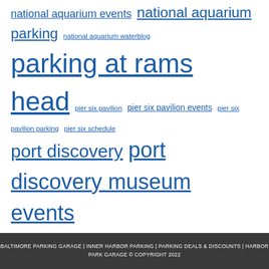national aquarium events national aquarium parking national aquarium waterblog parking at rams head pier six pavilion pier six pavilion events pier six pavilion parking pier six schedule port discovery port discovery museum events port discovery museum hours port discovery parking power plant live power plant live parking rams head calendar of events rams head live rams head live events soundstage baltimore soundstage calendar of events soundstage concerts soundstage parking
BALTIMORE PARKING GARAGE | INNER HARBOR PARKING | PARKING DEALS & DISCOUNTS | HARBOR PARK GARAGE © COPYRIGHT 2022